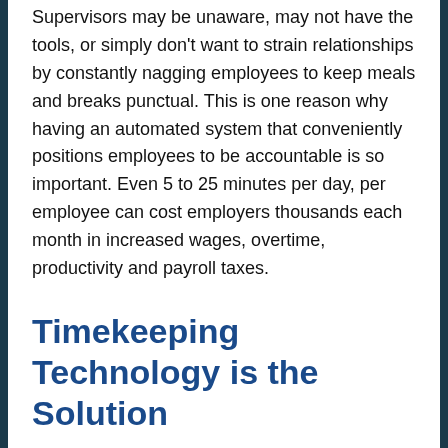Supervisors may be unaware, may not have the tools, or simply don't want to strain relationships by constantly nagging employees to keep meals and breaks punctual. This is one reason why having an automated system that conveniently positions employees to be accountable is so important. Even 5 to 25 minutes per day, per employee can cost employers thousands each month in increased wages, overtime, productivity and payroll taxes.
Timekeeping Technology is the Solution
If you're not currently or accurately tracking meal and break periods, you're most likely losing both on productivity and wages. Many employers apply a